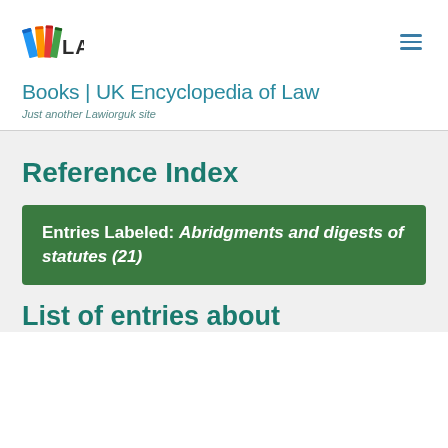[Figure (logo): LAWi logo with colorful book spines icon]
Books | UK Encyclopedia of Law
Just another Lawiorguk site
Reference Index
Entries Labeled: Abridgments and digests of statutes (21)
List of entries about